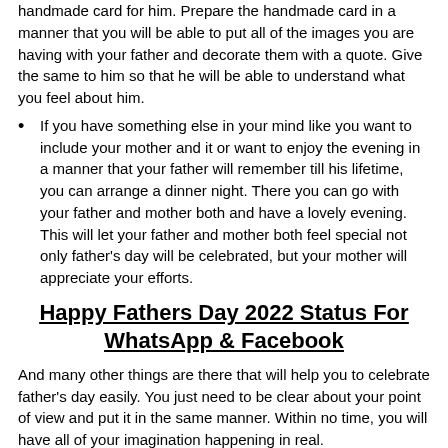handmade card for him. Prepare the handmade card in a manner that you will be able to put all of the images you are having with your father and decorate them with a quote. Give the same to him so that he will be able to understand what you feel about him.
If you have something else in your mind like you want to include your mother and it or want to enjoy the evening in a manner that your father will remember till his lifetime, you can arrange a dinner night. There you can go with your father and mother both and have a lovely evening. This will let your father and mother both feel special not only father's day will be celebrated, but your mother will appreciate your efforts.
Happy Fathers Day 2022 Status For WhatsApp & Facebook
And many other things are there that will help you to celebrate father's day easily. You just need to be clear about your point of view and put it in the same manner. Within no time, you will have all of your imagination happening in real.